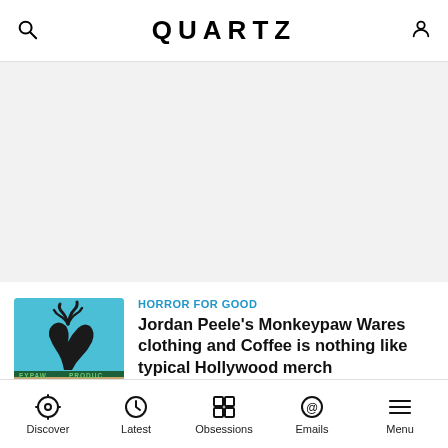QUARTZ
[Figure (other): Grey advertisement placeholder area]
HORROR FOR GOOD
Jordan Peele's Monkeypaw Wares clothing and Coffee is nothing like typical Hollywood merch
Quartz · August 16, 2022
Discover  Latest  Obsessions  Emails  Menu